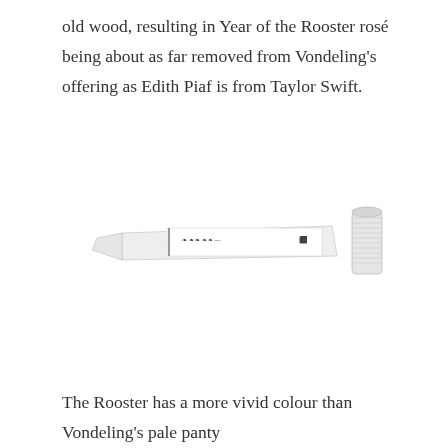old wood, resulting in Year of the Rooster rosé being about as far removed from Vondeling's offering as Edith Piaf is from Taylor Swift.
[Figure (photo): A partially visible wine bottle lying on its side showing a white label with small text and decorative elements, alongside a white capsule/top of a bottle standing upright.]
The Rooster has a more vivid colour than Vondeling's pale panty